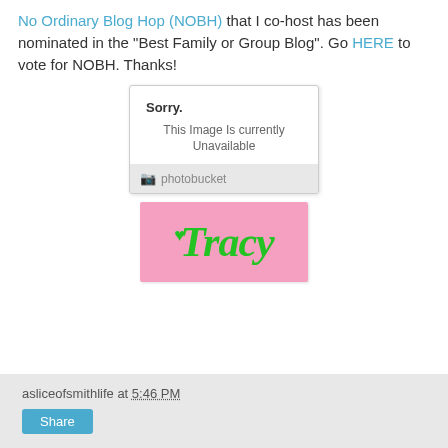No Ordinary Blog Hop (NOBH) that I co-host has been nominated in the "Best Family or Group Blog". Go HERE to vote for NOBH. Thanks!
[Figure (screenshot): Photobucket image placeholder box showing 'Sorry. This Image Is Currently Unavailable' with photobucket logo footer]
[Figure (illustration): Pink rectangular signature image with green cursive text reading 'Tracy' with a small heart]
asliceofsmithlife at 5:46 PM
Share